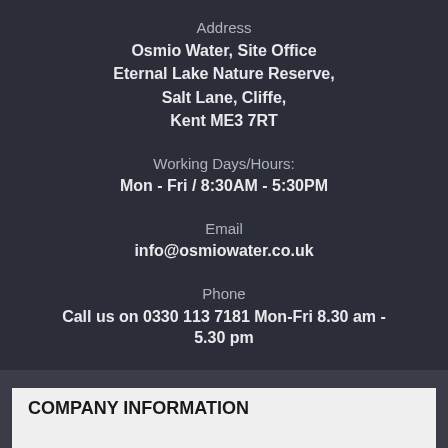Address
Osmio Water, Site Office
Eternal Lake Nature Reserve,
Salt Lane, Cliffe,
Kent ME3 7RT
Working Days/Hours:
Mon - Fri / 8:30AM - 5:30PM
Email
info@osmiowater.co.uk
Phone
Call us on 0330 113 7181 Mon-Fri 8.30 am - 5.30 pm
COMPANY INFORMATION